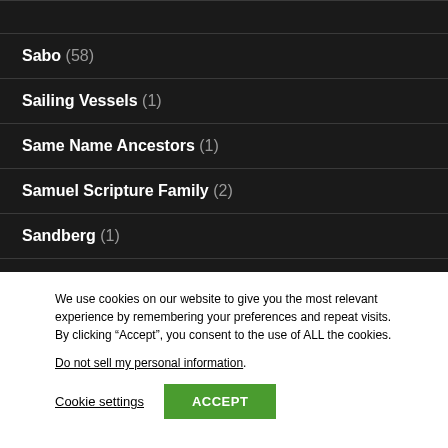Sabo (58)
Sailing Vessels (1)
Same Name Ancestors (1)
Samuel Scripture Family (2)
Sandberg (1)
Sargent (1)
Saturday Night Genealogy Fun (273)
We use cookies on our website to give you the most relevant experience by remembering your preferences and repeat visits. By clicking “Accept”, you consent to the use of ALL the cookies.
Do not sell my personal information.
Cookie settings  ACCEPT